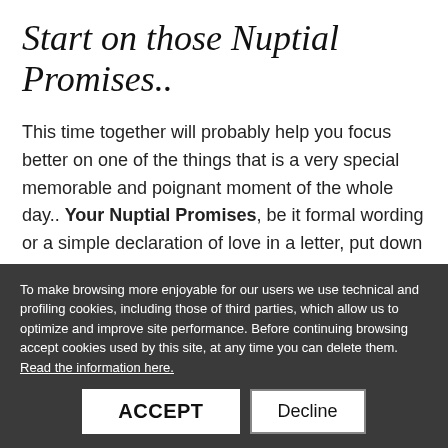Start on those Nuptial Promises..
This time together will probably help you focus better on one of the things that is a very special memorable and poignant moment of the whole day.. Your Nuptial Promises, be it formal wording or a simple declaration of love in a letter,  put down what your story is...Wedinverona will see to the timeline of your planning and troubleshoot all and any eventual mishaps right up to the Day...so you spend some of that time writing to each and for each other we...
To make browsing more enjoyable for our users we use technical and profiling cookies, including those of third parties, which allow us to optimize and improve site performance. Before continuing browsing accept cookies used by this site, at any time you can delete them. Read the information here.